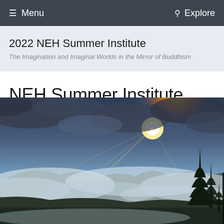≡ Menu   Q Explore
2022 NEH Summer Institute
The Imagination and Imaginal Worlds in the Mirror of Buddhism
NEH Summer Institute
[Figure (photo): Landscape photo showing a dramatic mountain sunrise with golden sunlight breaking through clouds and mist, with silhouetted evergreen trees in the foreground right]